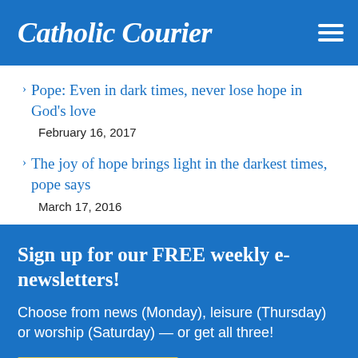Catholic Courier
Pope: Even in dark times, never lose hope in God's love
February 16, 2017
The joy of hope brings light in the darkest times, pope says
March 17, 2016
Sign up for our FREE weekly e-newsletters!
Choose from news (Monday), leisure (Thursday) or worship (Saturday) — or get all three!
Sign Up Today!